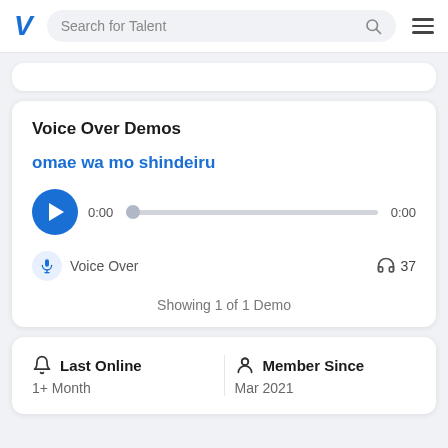Search for Talent
Voice Over Demos
omae wa mo shindeiru
0:00   0:00
Voice Over   37
Showing 1 of 1 Demo
Last Online
1+ Month
Member Since
Mar 2021